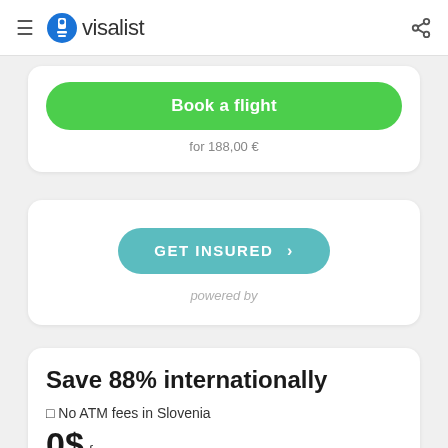visalist
Book a flight
for 188,00 €
GET INSURED >
powered by
Save 88% internationally
☐ No ATM fees in Slovenia
0$ fees